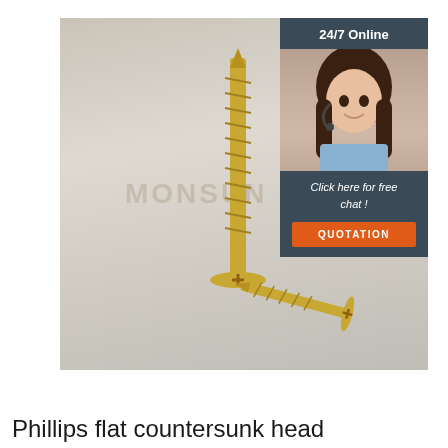[Figure (photo): Photo of two Phillips flat countersunk head screws (gold/zinc plated) standing upright and laid flat, with a MONSUN watermark overlay. Overlaid in the top-right corner is a customer service panel showing a woman with a headset, text '24/7 Online', 'Click here for free chat!', and an orange 'QUOTATION' button.]
Phillips flat countersunk head